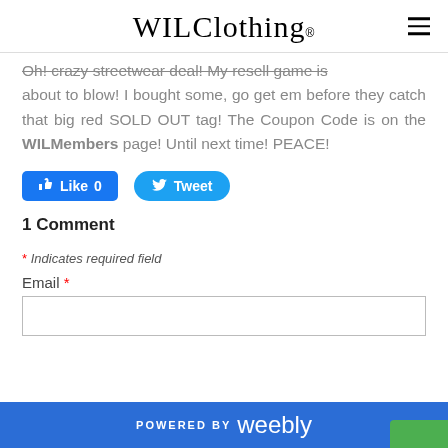WILClothing®
Oh! crazy streetwear deal! My resell game is about to blow! I bought some, go get em before they catch that big red SOLD OUT tag! The Coupon Code is on the WILMembers page! Until next time! PEACE!
[Figure (other): Facebook Like button (count: 0) and Twitter Tweet button]
1 Comment
* Indicates required field
Email *
POWERED BY weebly